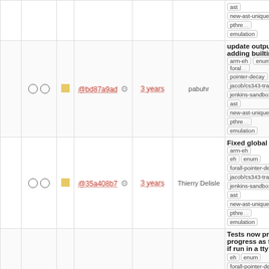|  |  |  | hash | age | author | info |
| --- | --- | --- | --- | --- | --- | --- |
|  |  |  | @bd87a9ad | 3 years | pabuhr | update output after adding builtins arm-eh enum forall-pointer-decay jacob/cs343-translation jenkins-sandbox new-ast new-ast-unique-expr pthread-emulation |
|  |  |  | @35a408b7 | 3 years | Thierry Delisle | Fixed global timeout arm-eh enum forall-pointer-decay jacob/cs343-translation jenkins-sandbox new-ast new-ast-unique-expr pthread-emulation |
|  |  |  | @e791851 | 3 years | Thierry Delisle | Tests now print progress as they go if run in a tty arm-eh enum forall-pointer-decay jacob/cs343-translation jenkins-sandbox new-ast new-ast-unique-expr pthread-emulation |
|  |  |  | @4d978d5 | 3 years | Thierry Delisle | temporarily moved sum.cfa to use printf arm-eh enum forall-pointer-decay jacob/cs343-translation jenkins-sandbox new-ast new-ast-unique-expr pthread-emulation |
|  |  |  | @aca144e | 3 years | pabuhr | formatting arm-eh enum forall-pointer-decay jacob/cs343-translation jenkins-sandbox new-ast new-ast-unique-expr pthread-emulation |
|  |  |  |  |  |  | change thread name from ... to CoPtn? arm-eh ... |